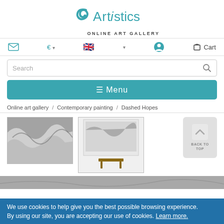[Figure (logo): Artistics Online Art Gallery logo with teal swirl icon and text]
Email | € ▾ | 🇬🇧 ▾ | User icon | Cart
Search
≡ Menu
Online art gallery / Contemporary painting / Dashed Hopes
[Figure (photo): Black and white photograph of crashing ocean waves, close-up view]
[Figure (photo): Black and white photograph of crashing ocean waves shown hanging on wall above a bench]
BACK TO TOP
[Figure (photo): Partial view of a landscape photograph at bottom of page]
We use cookies to help give you the best possible browsing experience. By using our site, you are accepting our use of cookies. Learn more.